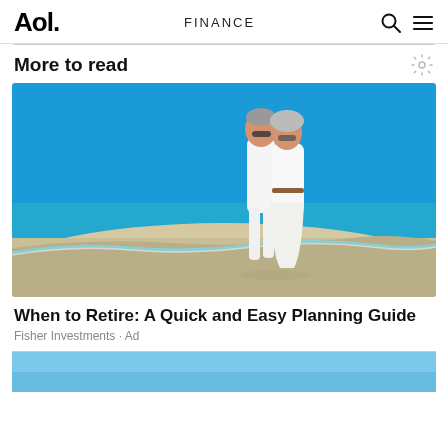Aol. | FINANCE
More to read
[Figure (photo): Older couple dressed in white walking together on a sunny beach with blue sky and turquoise water]
When to Retire: A Quick and Easy Planning Guide
Fisher Investments · Ad
[Figure (photo): Partial view of a blue sky/water image at the bottom of the page]